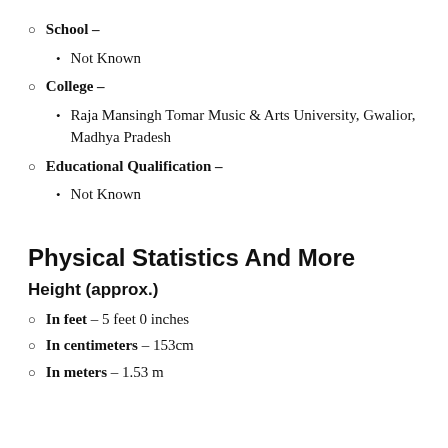School –
Not Known
College –
Raja Mansingh Tomar Music & Arts University, Gwalior, Madhya Pradesh
Educational Qualification –
Not Known
Physical Statistics And More
Height (approx.)
In feet – 5 feet 0 inches
In centimeters – 153cm
In meters – 1.53 m